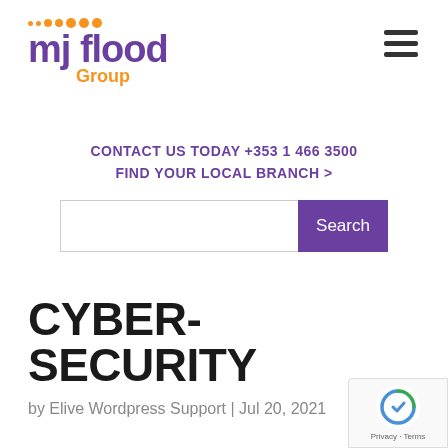[Figure (logo): MJ Flood Group logo with orange dots and purple text]
[Figure (other): Hamburger menu icon (three horizontal lines)]
CONTACT US TODAY +353 1 466 3500
FIND YOUR LOCAL BRANCH >
[Figure (other): Search input box with Search button]
CYBER-SECURITY
by Elive Wordpress Support | Jul 20, 2021
[Figure (other): Google reCAPTCHA badge with Privacy and Terms links]